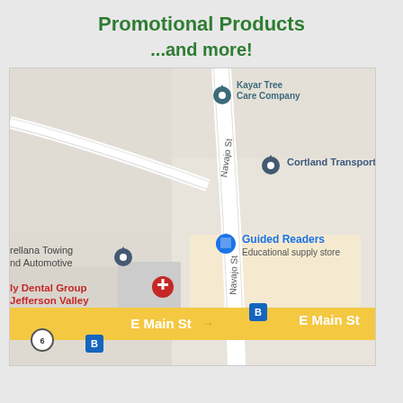Promotional Products
...and more!
[Figure (map): Google Maps screenshot showing intersection of Navajo St and E Main St. Visible businesses include Kayar Tree Care Company, Cortland Transportation, Guided Readers Educational supply store, Villana Towing and Automotive, and Ily Dental Group Jefferson Valley. Bus stops and route 6 marker visible along E Main St.]